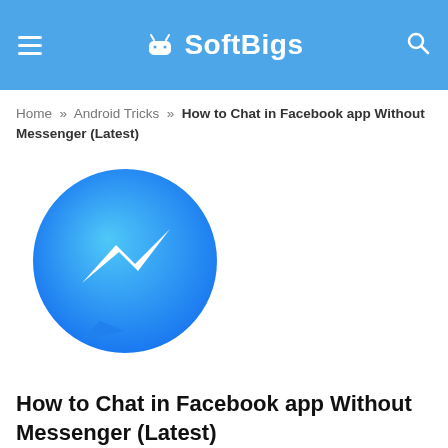SoftBigs
Home » Android Tricks » How to Chat in Facebook app Without Messenger (Latest)
[Figure (logo): Facebook Messenger app logo: a blue speech bubble circle with a white lightning bolt / messenger icon inside]
How to Chat in Facebook app Without Messenger (Latest)